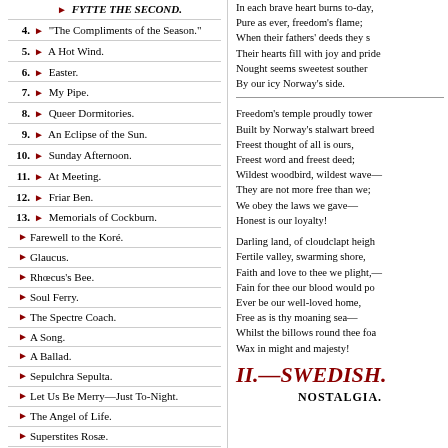FYTTE THE SECOND.
4. "The Compliments of the Season."
5. A Hot Wind.
6. Easter.
7. My Pipe.
8. Queer Dormitories.
9. An Eclipse of the Sun.
10. Sunday Afternoon.
11. At Meeting.
12. Friar Ben.
13. Memorials of Cockburn.
Farewell to the Koré.
Glaucus.
Rhoecus's Bee.
Soul Ferry.
The Spectre Coach.
A Song.
A Ballad.
Sepulchra Sepulta.
Let Us Be Merry—Just To-Night.
The Angel of Life.
Superstites Rosæ.
The Stars above the Cedar Tree.
This Year's Honeysuckle.
In each brave heart burns to-day, Pure as ever, freedom's flame; When their fathers' deeds they see, Their hearts fill with joy and pride, Nought seems sweetest southern, By our icy Norway's side.
Freedom's temple proudly towers, Built by Norway's stalwart breed, Freest thought of all is ours, Freest word and freest deed; Wildest woodbird, wildest wave— They are not more free than we; We obey the laws we gave— Honest is our loyalty!
Darling land, of cloudclapt heights, Fertile valley, swarming shore, Faith and love to thee we plight,— Fain for thee our blood would pour, Ever be our well-loved home, Free as is thy moaning sea— Whilst the billows round thee foam, Wax in might and majesty!
II.—SWEDISH.
NOSTALGIA.